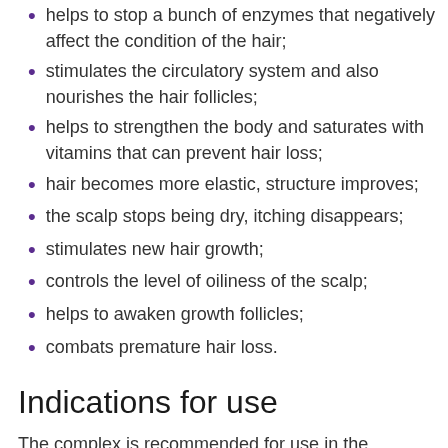helps to stop a bunch of enzymes that negatively affect the condition of the hair;
stimulates the circulatory system and also nourishes the hair follicles;
helps to strengthen the body and saturates with vitamins that can prevent hair loss;
hair becomes more elastic, structure improves;
the scalp stops being dry, itching disappears;
stimulates new hair growth;
controls the level of oiliness of the scalp;
helps to awaken growth follicles;
combats premature hair loss.
Indications for use
The complex is recommended for use in the